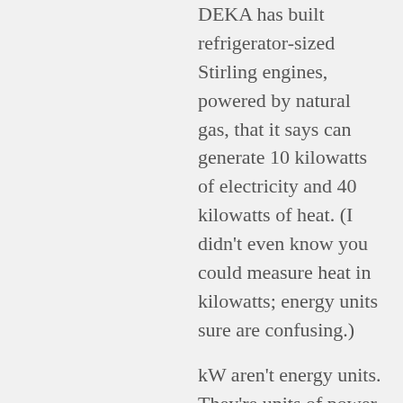DEKA has built refrigerator-sized Stirling engines, powered by natural gas, that it says can generate 10 kilowatts of electricity and 40 kilowatts of heat. (I didn't even know you could measure heat in kilowatts; energy units sure are confusing.)
kW aren't energy units. They're units of power.
Paul D. Maher on March 29, 2016 at 3:55 pm
There are lots of ways to generate heat to drive one of these things. My